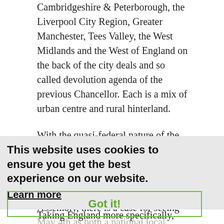Cambridgeshire & Peterborough, the Liverpool City Region, Greater Manchester, Tees Valley, the West Midlands and the West of England on the back of the city deals and so called devolution agenda of the previous Chancellor. Each is a mix of urban centre and rural hinterland.
With the quasi-federal nature of the UK becoming more established in the minds of voters in Scotland, now governed by its fifth parliament and in Wales, now governed by its fifth Assembly, there is a case for seeing May 4th as both a national local election, and as a set of those unique to each nation. Local results in Wales will in part reflect the different perceptions of voters of their respective governments, and yet the whole will add up to a national view of each party's prospects during this time of considerable political turmoil.
This website uses cookies to ensure you get the best experience on our website.
Learn more
Got it!
Taking England more specifically, we have the direct